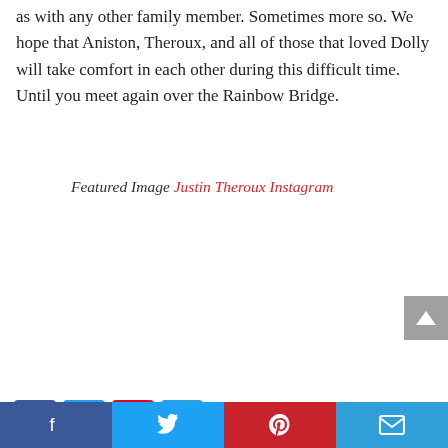as with any other family member. Sometimes more so. We hope that Aniston, Theroux, and all of those that loved Dolly will take comfort in each other during this difficult time. Until you meet again over the Rainbow Bridge.
Featured Image Justin Theroux Instagram
Source link
[Figure (other): Scroll-to-top button (gray arrow)]
[Figure (other): Social share icon buttons: Facebook, Twitter, Pinterest, LinkedIn/share]
Facebook | Twitter | Pinterest | Email